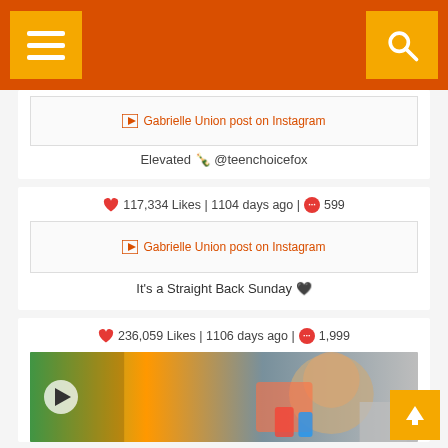Navigation bar with hamburger menu and search icon
[Figure (screenshot): Gabrielle Union post on Instagram image placeholder]
Elevated 🍾 @teenchoicefox
♥ 117,334 Likes | 1104 days ago | 💬 599
[Figure (screenshot): Gabrielle Union post on Instagram image placeholder]
It's a Straight Back Sunday 🖤
♥ 236,059 Likes | 1106 days ago | 💬 1,999
[Figure (photo): Video thumbnail showing a baby laughing with colorful toys, with a play button overlay]